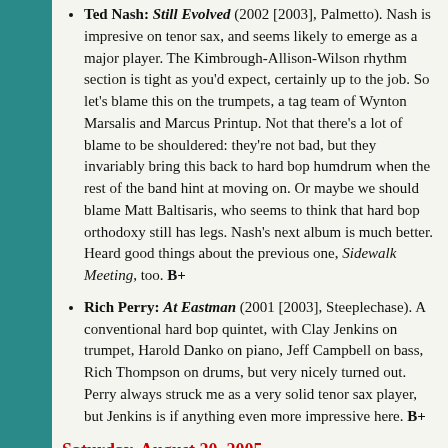Ted Nash: Still Evolved (2002 [2003], Palmetto). Nash is impresive on tenor sax, and seems likely to emerge as a major player. The Kimbrough-Allison-Wilson rhythm section is tight as you'd expect, certainly up to the job. So let's blame this on the trumpets, a tag team of Wynton Marsalis and Marcus Printup. Not that there's a lot of blame to be shouldered: they're not bad, but they invariably bring this back to hard bop humdrum when the rest of the band hint at moving on. Or maybe we should blame Matt Baltisaris, who seems to think that hard bop orthodoxy still has legs. Nash's next album is much better. Heard good things about the previous one, Sidewalk Meeting, too. B+
Rich Perry: At Eastman (2001 [2003], Steeplechase). A conventional hard bop quintet, with Clay Jenkins on trumpet, Harold Danko on piano, Jeff Campbell on bass, Rich Thompson on drums, but very nicely turned out. Perry always struck me as a very solid tenor sax player, but Jenkins is if anything even more impressive here. B+
Saturday, August 20, 2005